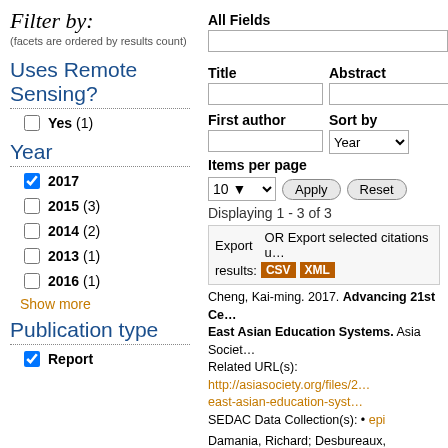Filter by:
(facets are ordered by results count)
Uses Remote Sensing?
Yes (1)
Year
2017 [checked]
2015 (3)
2014 (2)
2013 (1)
2016 (1)
Show more
Publication type
Report [checked]
All Fields
Title
Abstract
First author
Sort by
Items per page
Apply
Reset
Displaying 1 - 3 of 3
Export   OR Export selected citations u... results: CSV XML
Cheng, Kai-ming. 2017. Advancing 21st Ce... East Asian Education Systems. Asia Societ... Related URL(s): http://asiasociety.org/files/2... east-asian-education-syst… SEDAC Data Collection(s): • epi
Damania, Richard; Desbureaux, Sébastien; F...